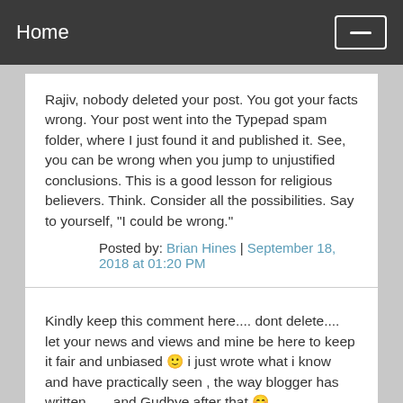Home
Rajiv, nobody deleted your post. You got your facts wrong. Your post went into the Typepad spam folder, where I just found it and published it. See, you can be wrong when you jump to unjustified conclusions. This is a good lesson for religious believers. Think. Consider all the possibilities. Say to yourself, "I could be wrong."
Posted by: Brian Hines | September 18, 2018 at 01:20 PM
Kindly keep this comment here.... dont delete.... let your news and views and mine be here to keep it fair and unbiased 🙂 i just wrote what i know and have practically seen , the way blogger has written...... and Gudbye after that 😊
........
35yrs of his useless life and he doesn't know that babaji